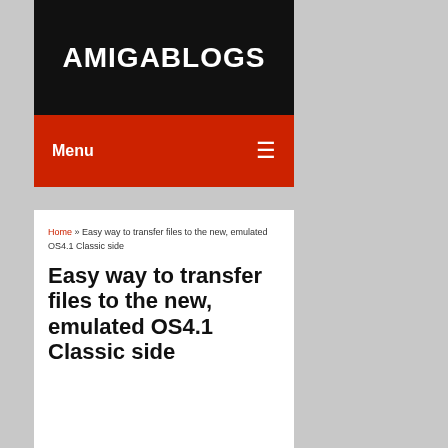AMIGABLOGS
Menu
Home » Easy way to transfer files to the new, emulated OS4.1 Classic side
Easy way to transfer files to the new, emulated OS4.1 Classic side